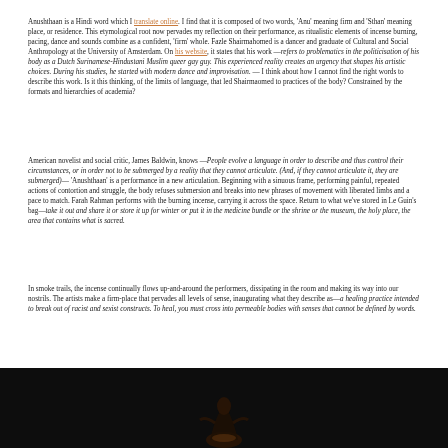Anushthaan is a Hindi word which I translate online. I find that it is composed of two words, 'Anu' meaning firm and 'Sthan' meaning place, or residence. This etymological root now pervades my reflection on their performance, as ritualistic elements of incense burning, pacing, dance and sounds combine as a confident, 'firm' whole. Fazle Shairmahomed is a dancer and graduate of Cultural and Social Anthropology at the University of Amsterdam. On his website, it states that his work —refers to problematics in the politicisation of his body as a Dutch Surinamese-Hindustani Muslim queer gay guy. This experienced reality creates an urgency that shapes his artistic choices. During his studies, he started with modern dance and improvisation. — I think about how I cannot find the right words to describe this work. Is it this thinking, of the limits of language, that led Shairmaomed to practices of the body? Constrained by the formats and hierarchies of academia?
American novelist and social critic, James Baldwin, knows —People evolve a language in order to describe and thus control their circumstances, or in order not to be submerged by a reality that they cannot articulate. (And, if they cannot articulate it, they are submerged)— 'Anushthaan' is a performance in a new articulation. Beginning with a sinuous frame, performing painful, repeated actions of contortion and struggle, the body refuses submersion and breaks into new phrases of movement with liberated limbs and a pace to match. Farah Rahman performs with the burning incense, carrying it across the space. Return to what we've stored in Le Guin's bag—take it out and share it or store it up for winter or put it in the medicine bundle or the shrine or the museum, the holy place, the area that contains what is sacred.
In smoke trails, the incense continually flows up-and-around the performers, dissipating in the room and making its way into our nostrils. The artists make a firm-place that pervades all levels of sense, inaugurating what they describe as—a healing practice intended to break out of racist and sexist constructs. To heal, you must cross into permeable bodies with senses that cannot be defined by words.
[Figure (photo): Dark photograph of a performer on stage, silhouetted against a black background, with warm amber/orange light illuminating the figure from below.]